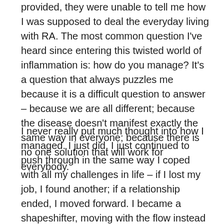provided, they were unable to tell me how I was supposed to deal the everyday living with RA. The most common question I've heard since entering this twisted world of inflammation is: how do you manage? It's a question that always puzzles me because it is a difficult question to answer – because we are all different; because the disease doesn't manifest exactly the same way in everyone; because there is no one solution that will work for everybody.
I never really put much thought into how I managed. I just did. I just continued to push through in the same way I coped with all my challenges in life – if I lost my job, I found another; if a relationship ended, I moved forward. I became a shapeshifter, moving with the flow instead of against it, and I did the same when RA arrived. I pooled the things I learned from my medical team with the suggestions from others and shaped them to my own needs. I sleep on a heated mattress pad to reduce morning stiffness; I adjusted my exercise based on how I felt on any